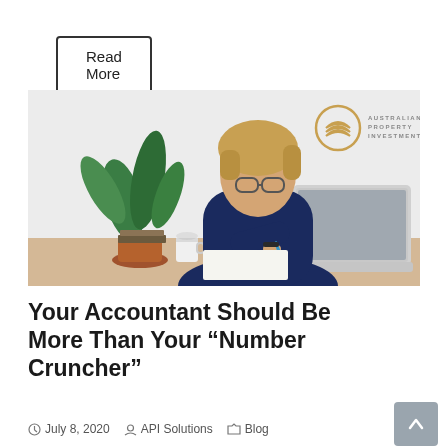Read More
[Figure (photo): Young man with glasses sitting at a desk, writing notes next to a laptop and a plant in a terracotta pot, with a coffee cup. Australian Property Investment logo visible in top right corner of image.]
Your Accountant Should Be More Than Your “Number Cruncher”
July 8, 2020  API Solutions  Blog